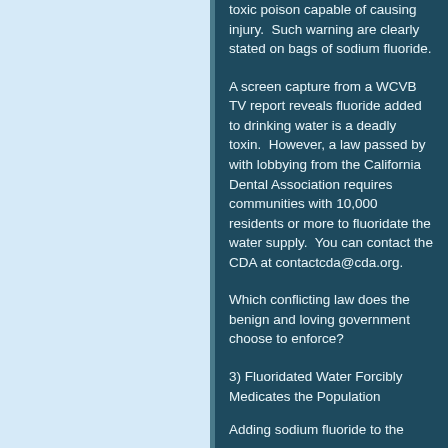toxic poison capable of causing injury.  Such warning are clearly stated on bags of sodium fluoride.
A screen capture from a WCVB TV report reveals fluoride added to drinking water is a deadly toxin.  However, a law passed by with lobbying from the California Dental Association requires communities with 10,000 residents or more to fluoridate the water supply.  You can contact the CDA at contactcda@cda.org.
Which conflicting law does the benign and loving government choose to enforce?
3) Fluoridated Water Forcibly Medicates the Population
Adding sodium fluoride to the